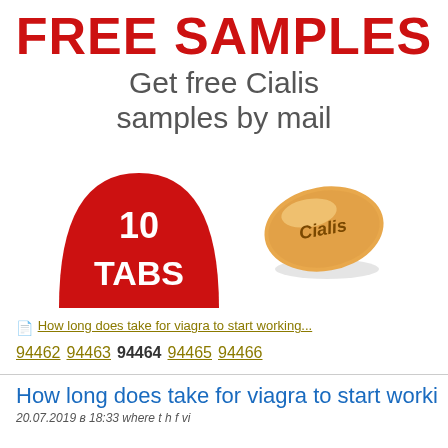FREE SAMPLES
Get free Cialis samples by mail
[Figure (illustration): Red dome/arch shape with white text '10 TABS' and an orange almond-shaped Cialis pill with 'Cialis' imprinted on it]
How long does take for viagra to start working...
94462 94463 94464 94465 94466
How long does take for viagra to start worki
20.07.2019 в 18:33 where t h f vi